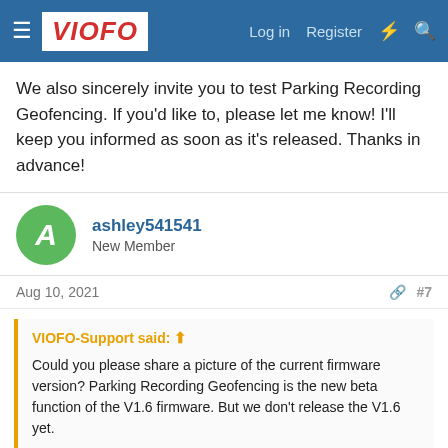VIOFO — Log in  Register
We also sincerely invite you to test Parking Recording Geofencing. If you'd like to, please let me know! I'll keep you informed as soon as it's released. Thanks in advance!
ashley541541
New Member
Aug 10, 2021  #7
VIOFO-Support said: ⊕
Could you please share a picture of the current firmware version? Parking Recording Geofencing is the new beta function of the V1.6 firmware. But we don't release the V1.6 yet.

We also sincerely invite you to test Parking Recording Geofencing. If you'd like to, please let me know! I'll keep you informed as soon as it's released. Thanks in advance!